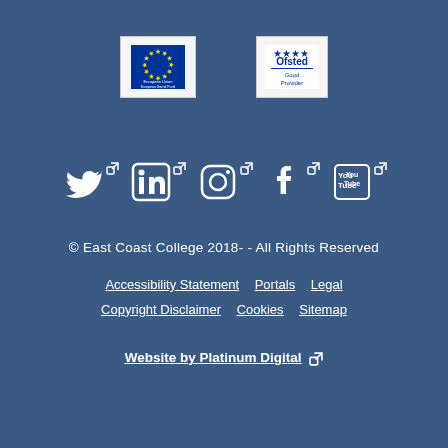[Figure (logo): European Union European Social Fund logo (white box with EU circle of stars and text below)]
[Figure (logo): Ofsted Good Provider logo (white box with stars and Ofsted text)]
[Figure (infographic): Row of 5 social media icons: Twitter, LinkedIn, Instagram, Facebook, YouTube — each with an external link icon — white on dark blue background]
© East Coast College 2018- - All Rights Reserved
Accessibility Statement   Portals   Legal   Copyright Disclaimer   Cookies   Sitemap
Website by Platinum Digital